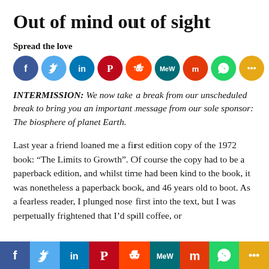Out of mind out of sight
Spread the love
[Figure (infographic): Row of social sharing icons: Facebook (blue), Twitter (light blue), LinkedIn (blue), Pinterest (red), Reddit (orange-red), MeWe (teal), Mix (orange-red), WhatsApp (green), More (orange)]
INTERMISSION: We now take a break from our unscheduled break to bring you an important message from our sole sponsor: The biosphere of planet Earth.
Last year a friend loaned me a first edition copy of the 1972 book: “The Limits to Growth”. Of course the copy had to be a paperback edition, and whilst time had been kind to the book, it was nonetheless a paperback book, and 46 years old to boot. As a fearless reader, I plunged nose first into the text, but I was perpetually frightened that I’d spill coffee, or
[Figure (infographic): Bottom navigation bar with social sharing icons: Facebook (blue), Twitter (light blue), LinkedIn (blue), Pinterest (red), Reddit (orange), MeWe (teal), Mix (orange-red), WhatsApp (green), More (orange)]